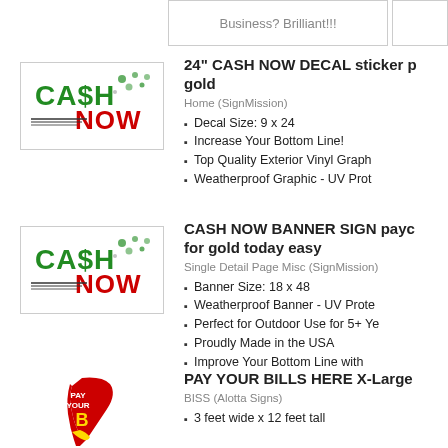Business? Brilliant!!!
24" CASH NOW DECAL sticker p... gold
Home (SignMission)
[Figure (photo): Cash Now decal sticker with green and red text on white background]
Decal Size: 9 x 24
Increase Your Bottom Line!
Top Quality Exterior Vinyl Graph...
Weatherproof Graphic - UV Prot...
CASH NOW BANNER SIGN payc... for gold today easy
Single Detail Page Misc (SignMission)
[Figure (photo): Cash Now banner sign with green and red text on white background]
Banner Size: 18 x 48
Weatherproof Banner - UV Prote...
Perfect for Outdoor Use for 5+ Ye...
Proudly Made in the USA
Improve Your Bottom Line with...
PAY YOUR BILLS HERE X-Large...
BISS (Alotta Signs)
[Figure (photo): Pay Your Bills Here feather flag/banner in red and yellow]
3 feet wide x 12 feet tall